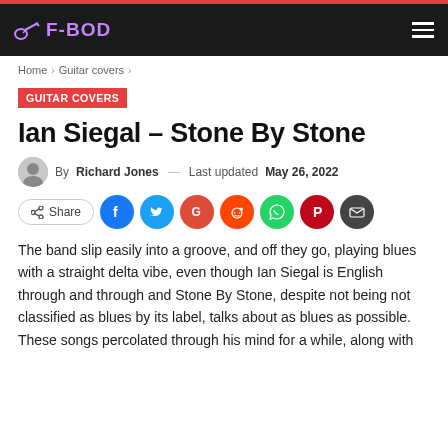F-BOD
Home > Guitar covers >
GUITAR COVERS
Ian Siegal – Stone By Stone
By Richard Jones — Last updated May 26, 2022
[Figure (infographic): Social share buttons: Share, Facebook, Twitter, Google, Reddit, WhatsApp, Pinterest, Email]
The band slip easily into a groove, and off they go, playing blues with a straight delta vibe, even though Ian Siegal is English through and through and Stone By Stone, despite not being not classified as blues by its label, talks about as blues as possible. These songs percolated through his mind for a while, along with